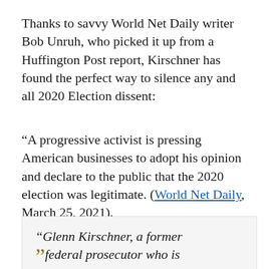Thanks to savvy World Net Daily writer Bob Unruh, who picked it up from a Huffington Post report, Kirschner has found the perfect way to silence any and all 2020 Election dissent:
“A progressive activist is pressing American businesses to adopt his opinion and declare to the public that the 2020 election was legitimate. (World Net Daily, March 25, 2021).
“Glenn Kirschner, a former federal prosecutor who is